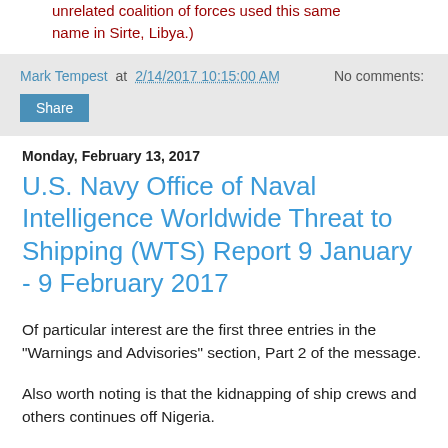unrelated coalition of forces used this same name in Sirte, Libya.)
Mark Tempest at 2/14/2017 10:15:00 AM   No comments:
Share
Monday, February 13, 2017
U.S. Navy Office of Naval Intelligence Worldwide Threat to Shipping (WTS) Report 9 January - 9 February 2017
Of particular interest are the first three entries in the "Warnings and Advisories" section, Part 2 of the message.
Also worth noting is that the kidnapping of ship crews and others continues off Nigeria.